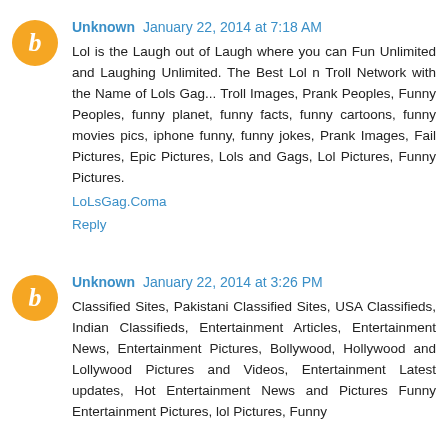[Figure (illustration): Orange circular blogger avatar icon with 'b' letter]
Unknown January 22, 2014 at 7:18 AM
Lol is the Laugh out of Laugh where you can Fun Unlimited and Laughing Unlimited. The Best Lol n Troll Network with the Name of Lols Gag... Troll Images, Prank Peoples, Funny Peoples, funny planet, funny facts, funny cartoons, funny movies pics, iphone funny, funny jokes, Prank Images, Fail Pictures, Epic Pictures, Lols and Gags, Lol Pictures, Funny Pictures.
LoLsGag.Coma
Reply
[Figure (illustration): Orange circular blogger avatar icon with 'b' letter]
Unknown January 22, 2014 at 3:26 PM
Classified Sites, Pakistani Classified Sites, USA Classifieds, Indian Classifieds, Entertainment Articles, Entertainment News, Entertainment Pictures, Bollywood, Hollywood and Lollywood Pictures and Videos, Entertainment Latest updates, Hot Entertainment News and Pictures Funny Entertainment Pictures, lol Pictures, Funny